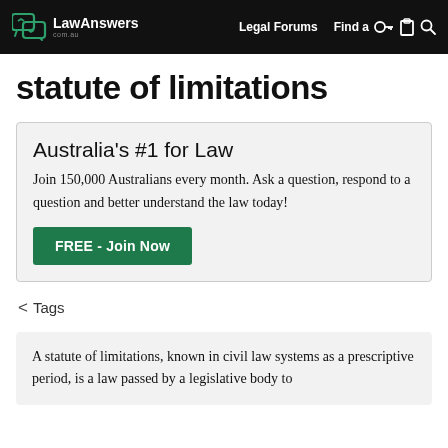LawAnswers com.au | Legal Forums | Find a
statute of limitations
Australia's #1 for Law
Join 150,000 Australians every month. Ask a question, respond to a question and better understand the law today!
FREE - Join Now
< Tags
A statute of limitations, known in civil law systems as a prescriptive period, is a law passed by a legislative body to